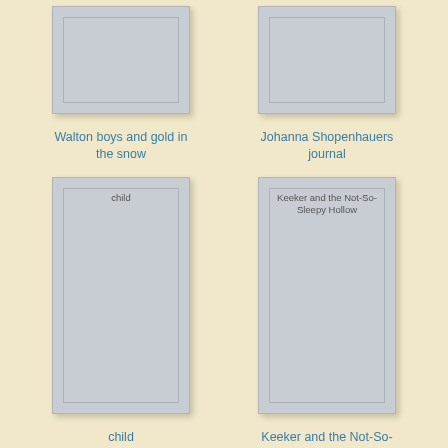[Figure (illustration): Book cover placeholder for 'Walton boys and gold in the snow' - grey rectangle partially visible at top]
Walton boys and gold in the snow
[Figure (illustration): Book cover placeholder for 'Johanna Shopenhauers journal' - grey rectangle partially visible at top]
Johanna Shopenhauers journal
[Figure (illustration): Book cover placeholder with text 'child' inside - full grey rectangle]
child
[Figure (illustration): Book cover placeholder with text 'Keeker and the Not-So-Sleepy Hollow' inside - full grey rectangle]
Keeker and the Not-So-Sleepy Hollow
[Figure (illustration): Book cover placeholder - grey rectangle partially visible at bottom]
[Figure (illustration): Book cover placeholder - grey rectangle partially visible at bottom]